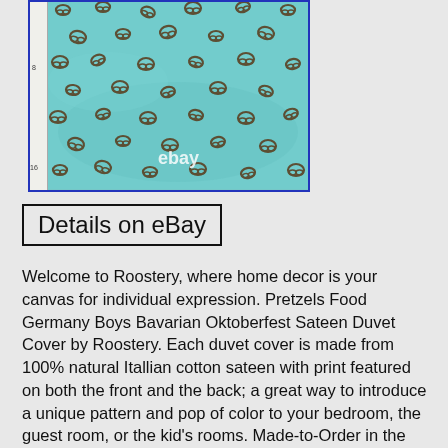[Figure (photo): Close-up photo of teal/turquoise fabric with a scattered pretzel pattern, framed with a blue border and a ruler on the left side. An 'ebay' watermark is visible in the lower center of the image.]
Details on eBay
Welcome to Roostery, where home decor is your canvas for individual expression. Pretzels Food Germany Boys Bavarian Oktoberfest Sateen Duvet Cover by Roostery. Each duvet cover is made from 100% natural Itallian cotton sateen with print featured on both the front and the back; a great way to introduce a unique pattern and pop of color to your bedroom, the guest room, or the kid's rooms. Made-to-Order in the USA. Features a discreet hidden zipper at the foot and comforter ties inside of each corner. Comforter/duvet insert and shams not